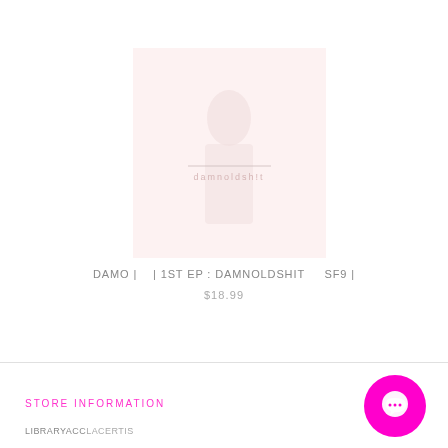[Figure (photo): Album cover art for DAMO 1ST EP: DAMNOLDSHIT by SF9. Light pink/white square album cover with faint figure and text overlay.]
DAMO |    | 1ST EP : DAMNOLDSHIT    SF9 |
$18.99
STORE INFORMATION
LIBRARYACCLACER...